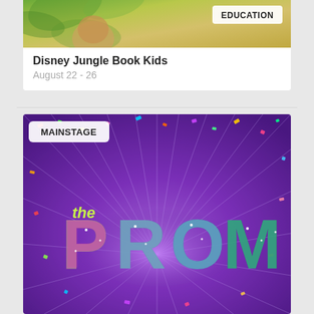[Figure (illustration): Top portion of Disney Jungle Book Kids promotional card with jungle-themed image and EDUCATION badge]
Disney Jungle Book Kids
August 22 - 26
[Figure (illustration): The Prom musical promotional poster with purple burst background, colorful confetti, glittery THE PROM lettering, and MAINSTAGE badge]